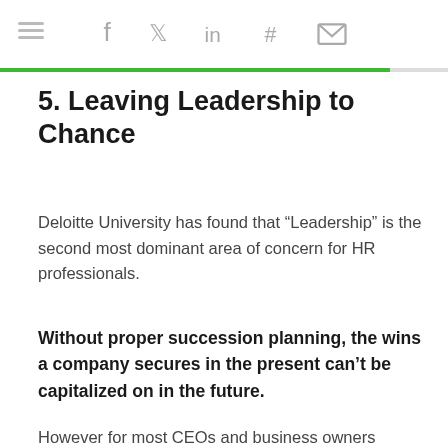Social share icons: facebook, twitter, linkedin, slack, email
5. Leaving Leadership to Chance
Deloitte University has found that “Leadership” is the second most dominant area of concern for HR professionals.
Without proper succession planning, the wins a company secures in the present can’t be capitalized on in the future.
However for most CEOs and business owners